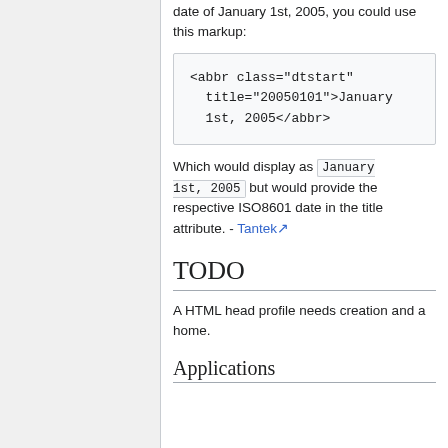date of January 1st, 2005, you could use this markup:
<abbr class="dtstart" title="20050101">January 1st, 2005</abbr>
Which would display as January 1st, 2005 but would provide the respective ISO8601 date in the title attribute. - Tantek
TODO
A HTML head profile needs creation and a home.
Applications